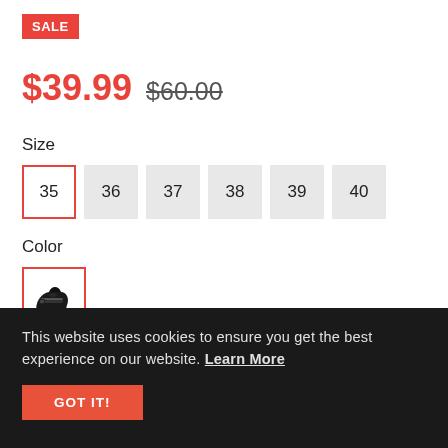SALE
$39.99  $60.00
Size
35  36  37  38  39  40
Color
[Figure (photo): Black shoe/sandal thumbnail used as color swatch]
This website uses cookies to ensure you get the best experience on our website. Learn More
GOT IT!